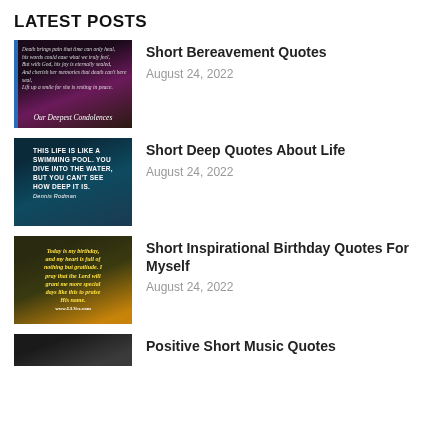LATEST POSTS
[Figure (photo): Bereavement image with pink flowers and dark background, text 'Our Deepest Condolences']
Short Bereavement Quotes
August 24, 2022
[Figure (photo): Swimming pool underwater image with text: 'This life is like a swimming pool. You dive into the water, but you can't see how deep it is. - Dennis Rodman']
Short Deep Quotes About Life
August 24, 2022
[Figure (photo): Birthday image with yellow text on dark background: 'Today is my birthday, and my heart is full of nothing but gratitude. I pray that the Lord will grant me more special days like this to praise His name.']
Short Inspirational Birthday Quotes For Myself
August 24, 2022
[Figure (photo): Partial image cutoff at bottom of page for music quotes post]
Positive Short Music Quotes